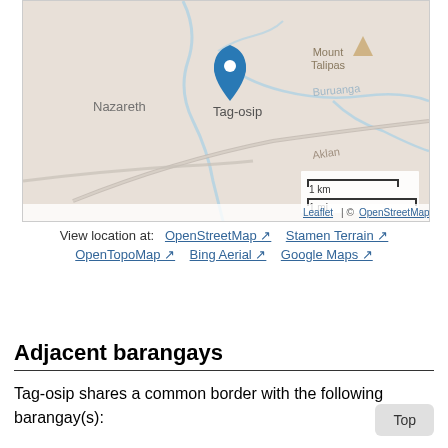[Figure (map): Leaflet/OpenStreetMap map showing Tag-osip location with a blue marker pin, surrounding labels for Nazareth, Mount Talipas, Aklan river label, Buruanga label. Scale bar showing 1 km and 1 mi. Attribution: Leaflet | © OpenStreetMap]
View location at:  OpenStreetMap ↗  Stamen Terrain ↗  OpenTopoMap ↗  Bing Aerial ↗  Google Maps ↗
Adjacent barangays
Tag-osip shares a common border with the following barangay(s):